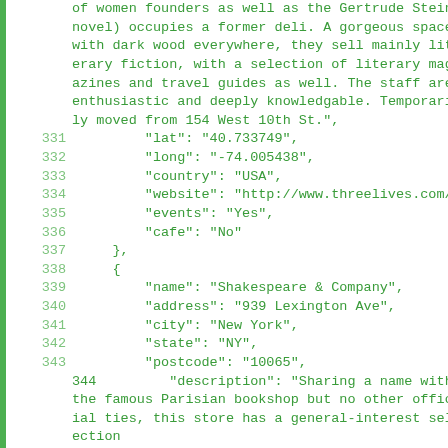of women founders as well as the Gertrude Stein novel) occupies a former deli. A gorgeous space with dark wood everywhere, they sell mainly literary fiction, with a selection of literary magazines and travel guides as well. The staff are enthusiastic and deeply knowledgable. Temporarily moved from 154 West 10th St.",
331     "lat": "40.733749",
332     "long": "-74.005438",
333     "country": "USA",
334     "website": "http://www.threelives.com/",
335     "events": "Yes",
336     "cafe": "No"
337     },
338     {
339         "name": "Shakespeare & Company",
340         "address": "939 Lexington Ave",
341         "city": "New York",
342         "state": "NY",
343         "postcode": "10065",
344         "description": "Sharing a name with the famous Parisian bookshop but no other official ties, this store has a general-interest selection